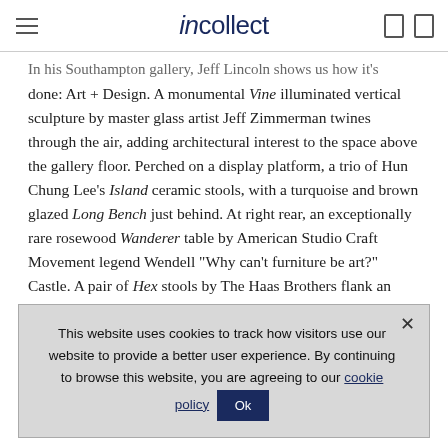incollect
In his Southampton gallery, Jeff Lincoln shows us how it's done: Art + Design. A monumental Vine illuminated vertical sculpture by master glass artist Jeff Zimmerman twines through the air, adding architectural interest to the space above the gallery floor. Perched on a display platform, a trio of Hun Chung Lee's Island ceramic stools, with a turquoise and brown glazed Long Bench just behind. At right rear, an exceptionally rare rosewood Wanderer table by American Studio Craft Movement legend Wendell "Why can't furniture be art?" Castle. A pair of Hex stools by The Haas Brothers flank an amorphous coffee table made of gypsum, a unique piece by Rogan Gregory.
This website uses cookies to track how visitors use our website to provide a better user experience. By continuing to browse this website, you are agreeing to our cookie policy  Ok